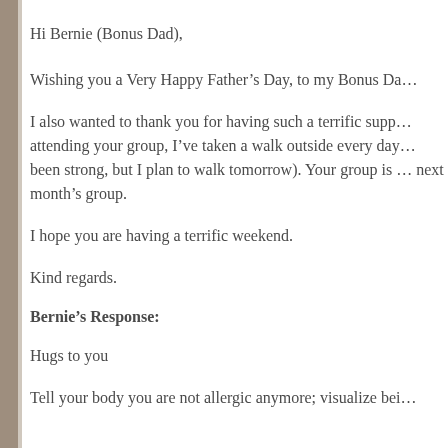Hi Bernie (Bonus Dad),
Wishing you a Very Happy Father’s Day, to my Bonus Da…
I also wanted to thank you for having such a terrific supp… attending your group, I’ve taken a walk outside every day… been strong, but I plan to walk tomorrow). Your group is … next month’s group.
I hope you are having a terrific weekend.
Kind regards.
Bernie’s Response:
Hugs to you
Tell your body you are not allergic anymore; visualize bei…